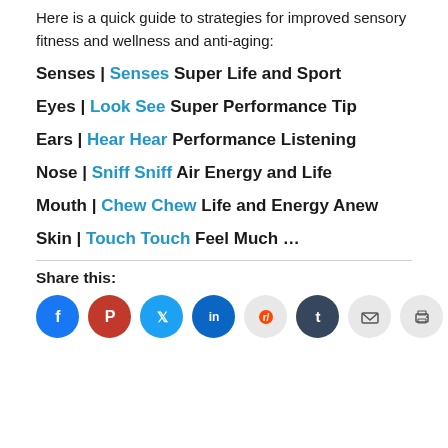Here is a quick guide to strategies for improved sensory fitness and wellness and anti-aging:
Senses | Senses Super Life and Sport
Eyes | Look See Super Performance Tip
Ears | Hear Hear Performance Listening
Nose | Sniff Sniff Air Energy and Life
Mouth | Chew Chew Life and Energy Anew
Skin | Touch Touch Feel Much ...
Share this:
[Figure (infographic): Social share icon buttons: Facebook, Pinterest, Twitter, LinkedIn, Reddit, Tumblr, Email, Print]